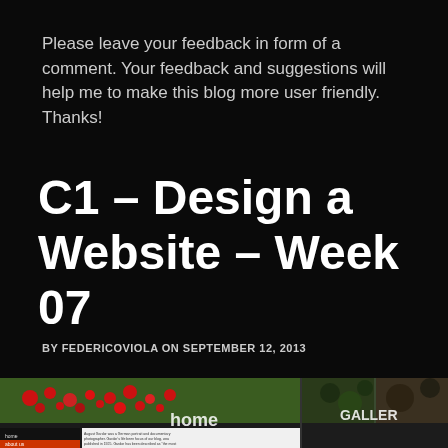Please leave your feedback in form of a comment. Your feedback and suggestions will help me to make this blog more user friendly. Thanks!
C1 – Design a Website – Week 07
BY FEDERICOVIOLA ON SEPTEMBER 12, 2013
[Figure (screenshot): Screenshot of a website design showing a garden/nature theme with red poppy flowers, a 'home' page view, navigation menu items (home, about us, portfolio, contact), text content about August Gardor, and a GALLERY section with plant/garden images.]